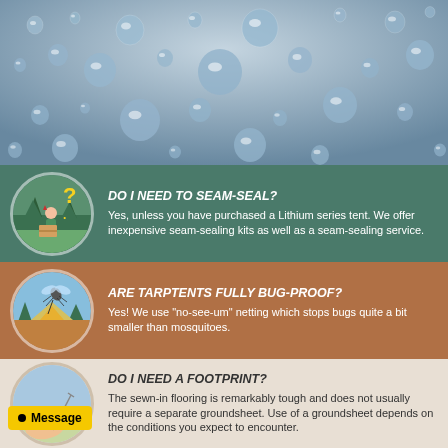[Figure (photo): Close-up photo of water droplets on a gray surface, with title 'HOW TO AVOID CONDENSATION' overlaid at the top]
[Figure (infographic): Green banner with circular illustration of person unpacking tent and question mark. Title: DO I NEED TO SEAM-SEAL? Body: Yes, unless you have purchased a Lithium series tent. We offer inexpensive seam-sealing kits as well as a seam-sealing service.]
[Figure (infographic): Brown banner with circular illustration of mosquito near tent. Title: ARE TARPTENTS FULLY BUG-PROOF? Body: Yes! We use "no-see-um" netting which stops bugs quite a bit smaller than mosquitoes.]
[Figure (infographic): Light tan banner with circular illustration of bare feet. Title: DO I NEED A FOOTPRINT? Body: The sewn-in flooring is remarkably tough and does not usually require a separate groundsheet. Use of a groundsheet depends on the conditions you expect to encounter.]